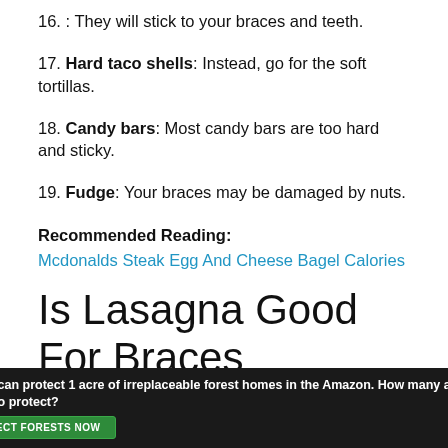16. : They will stick to your braces and teeth.
17. Hard taco shells: Instead, go for the soft tortillas.
18. Candy bars: Most candy bars are too hard and sticky.
19. Fudge: Your braces may be damaged by nuts.
Recommended Reading:
Mcdonalds Steak Egg And Cheese Bagel Calories
Is Lasagna Good For Braces
Perhaps there is a family favorite among some of these
[Figure (photo): Advertisement banner: dark background with forest/wildlife image on left, text reading 'Just $2 can protect 1 acre of irreplaceable forest homes in the Amazon. How many acres are you willing to protect?' and a green 'PROTECT FORESTS NOW' button.]